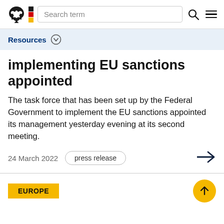Search term
Resources
implementing EU sanctions appointed
The task force that has been set up by the Federal Government to implement the EU sanctions appointed its management yesterday evening at its second meeting.
24 March 2022  press release
EUROPE